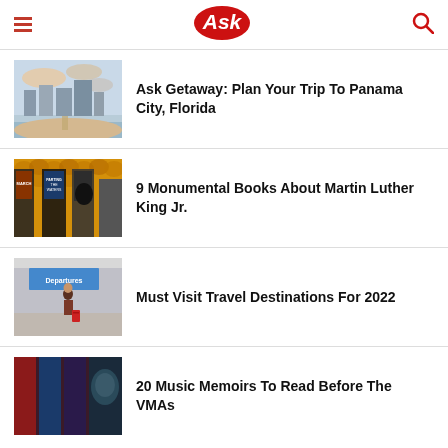Ask
Ask Getaway: Plan Your Trip To Panama City, Florida
9 Monumental Books About Martin Luther King Jr.
Must Visit Travel Destinations For 2022
20 Music Memoirs To Read Before The VMAs